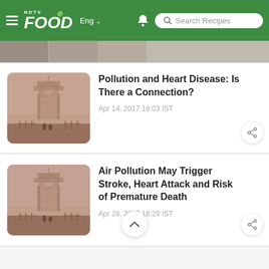NDTV Food — Eng — Search Recipes
[Figure (screenshot): Partial thumbnail image strip at top of content area]
[Figure (photo): Smoggy photo of India Gate monument in heavy pollution/haze]
Pollution and Heart Disease: Is There a Connection?
Apr 14, 2017 18:03 IST
[Figure (photo): Smoggy photo of India Gate monument in heavy pollution/haze]
Air Pollution May Trigger Stroke, Heart Attack and Risk of Premature Death
Apr 28, 2017 18:29 IST